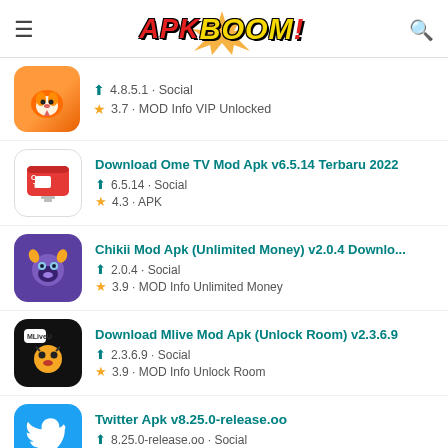APKBOOM! - App listing page
4.8.5.1 · Social | 3.7 · MOD Info VIP Unlocked
Download Ome TV Mod Apk v6.5.14 Terbaru 2022 | 6.5.14 · Social | 4.3 · APK
Chikii Mod Apk (Unlimited Money) v2.0.4 Downlo... | 2.0.4 · Social | 3.9 · MOD Info Unlimited Money
Download Mlive Mod Apk (Unlock Room) v2.3.6.9 | 2.3.6.9 · Social | 3.9 · MOD Info Unlock Room
Twitter Apk v8.25.0-release.oo | 8.25.0-release.oo · Social | 4.0 · MOD Info adsbugoogle = window.adsbugoogle ||